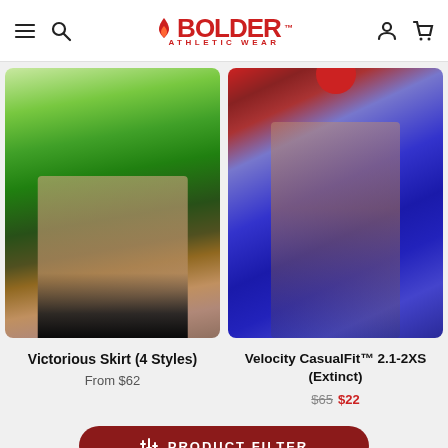BOLDER ATHLETIC WEAR
[Figure (photo): Product photo of Victorious Skirt showing green and yellow athletic skirt on model from waist down]
Victorious Skirt (4 Styles)
From $62
[Figure (photo): Product photo of Velocity CasualFit 2.1-2XS showing blue and red athletic shorts on model]
Velocity CasualFit™ 2.1-2XS (Extinct)
$65  $22
PRODUCT FILTER